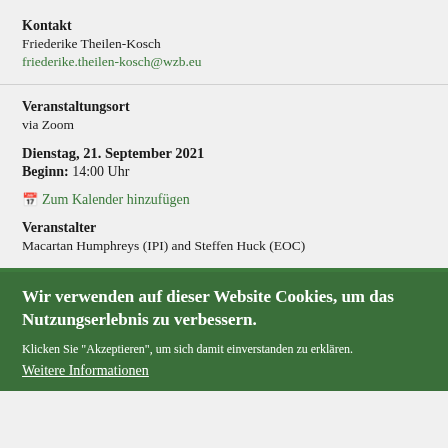Kontakt
Friederike Theilen-Kosch
friederike.theilen-kosch@wzb.eu
Veranstaltungsort
via Zoom
Dienstag, 21. September 2021
Beginn: 14:00 Uhr
📅 Zum Kalender hinzufügen
Veranstalter
Macartan Humphreys (IPI) and Steffen Huck (EOC)
Wir verwenden auf dieser Website Cookies, um das Nutzungserlebnis zu verbessern.
Klicken Sie "Akzeptieren", um sich damit einverstanden zu erklären.
Weitere Informationen